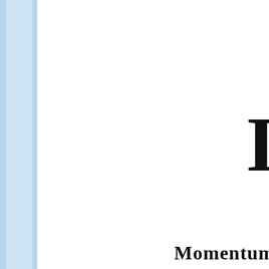[Figure (other): Light blue vertical sidebar/bar on the left edge of the page]
I
Momentum